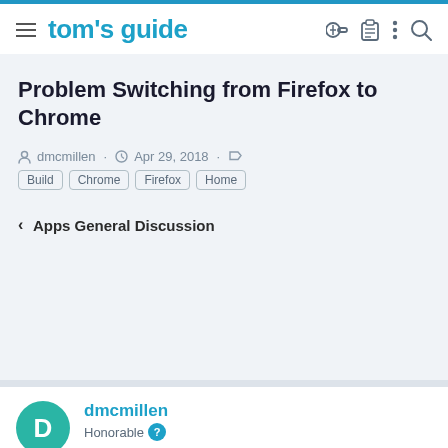tom's guide
Problem Switching from Firefox to Chrome
dmcmillen · Apr 29, 2018 · Build Chrome Firefox Home
< Apps General Discussion
Previous | Next | Sort by votes
dmcmillen
Honorable